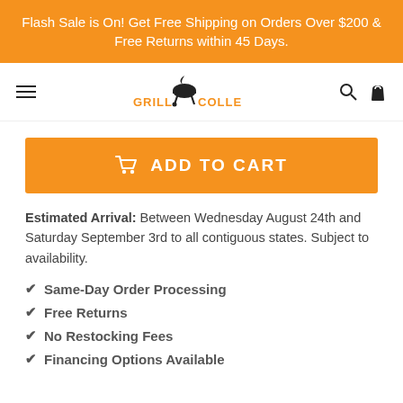Flash Sale is On! Get Free Shipping on Orders Over $200 & Free Returns within 45 Days.
[Figure (logo): Grill Collection logo with grill icon and flame]
[Figure (other): Add to Cart button]
Estimated Arrival: Between Wednesday August 24th and Saturday September 3rd to all contiguous states. Subject to availability.
Same-Day Order Processing
Free Returns
No Restocking Fees
Financing Options Available